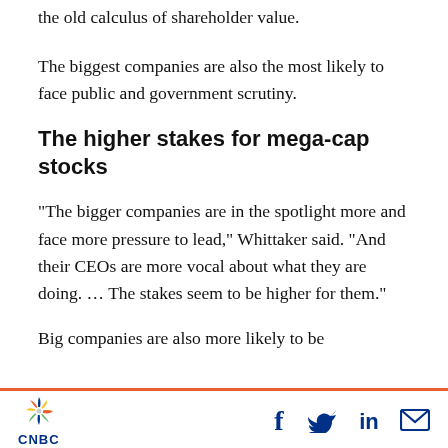the old calculus of shareholder value.
The biggest companies are also the most likely to face public and government scrutiny.
The higher stakes for mega-cap stocks
“The bigger companies are in the spotlight more and face more pressure to lead,” Whittaker said. “And their CEOs are more vocal about what they are doing. … The stakes seem to be higher for them.”
Big companies are also more likely to be
CNBC footer with social icons: Facebook, Twitter, LinkedIn, Email